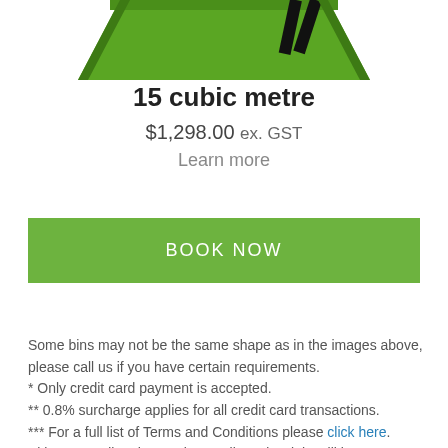[Figure (illustration): Partial view of a green skip bin with black frame/legs at the top of the page]
15 cubic metre
$1,298.00 ex. GST
Learn more
BOOK NOW
Some bins may not be the same shape as in the images above, please call us if you have certain requirements.
* Only credit card payment is accepted.
** 0.8% surcharge applies for all credit card transactions.
*** For a full list of Terms and Conditions please click here.
Skips exceeding the maximum allowed weight will incur a